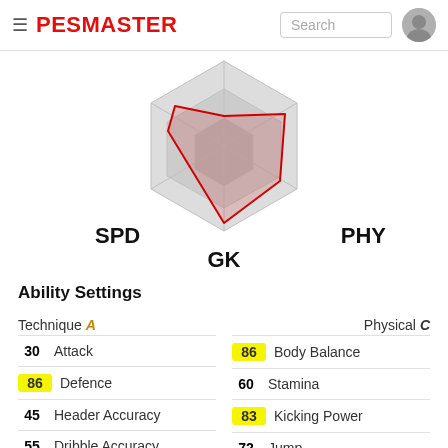PESMASTER
[Figure (radar-chart): Radar chart with SPD, PHY, GK axes shown, grey hexagonal background with red polygon overlay showing player stats]
Ability Settings
Technique A
Physical C
| 30 | Attack | 86 | Body Balance |
| 86 | Defence | 60 | Stamina |
| 45 | Header Accuracy | 83 | Kicking Power |
| 55 | Dribble Accuracy | 72 | Jump |